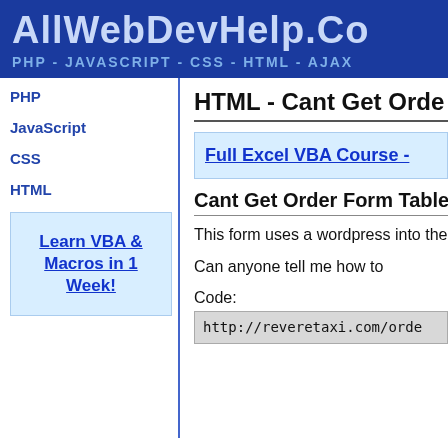AllWebDevHelp.co
PHP - JAVASCRIPT - CSS - HTML - AJAX
PHP
JavaScript
CSS
HTML
[Figure (other): Advertisement box: Learn VBA & Macros in 1 Week!]
HTML - Cant Get Orde
[Figure (other): Advertisement banner: Full Excel VBA Course -]
Cant Get Order Form Table
This form uses a wordpress into the theme nicely.
Can anyone tell me how to
Code:
http://reveretaxi.com/orde